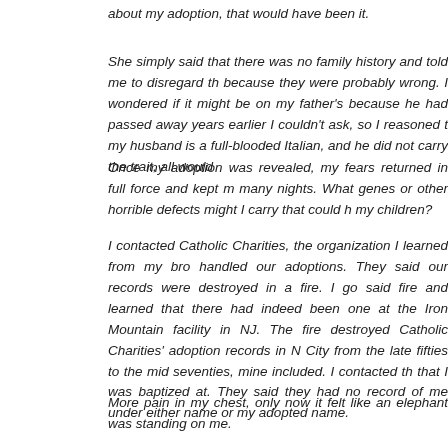about my adoption, that would have been it.
She simply said that there was no family history and told me to disregard the because they were probably wrong. I wondered if it might be on my father's because he had passed away years earlier I couldn't ask, so I reasoned t my husband is a full-blooded Italian, and he did not carry the trait, all would
Once my adoption was revealed, my fears returned in full force and kept m many nights. What genes or other horrible defects might I carry that could h my children?
I contacted Catholic Charities, the organization I learned from my bro handled our adoptions. They said our records were destroyed in a fire. I go said fire and learned that there had indeed been one at the Iron Mountain facility in NJ. The fire destroyed Catholic Charities' adoption records in N City from the late fifties to the mid seventies, mine included. I contacted th that I was baptized at. They said they had no record of me under either name or my adopted name.
More pain in my chest, only now it felt like an elephant was standing on me. few weeks, I was at the doctor's office for the pain, and explaining to him t no health history. Fifteen minutes or so later he asked: "Any family h anything like this?" I looked at him in disbelief.
"Oh! I'm sorry." He went on with the exam, deemed my chest pain stress rel gave me a prescription for a sedative and antidepressants, then sent me on
The last year and a half has been a roller coaster of emotions. I paid a larg